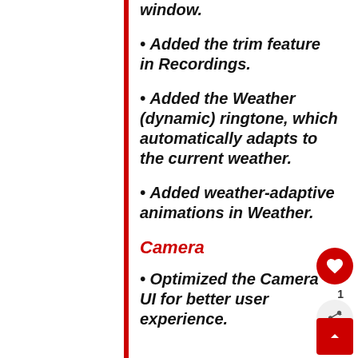• Added the trim feature in Recordings.
• Added the Weather (dynamic) ringtone, which automatically adapts to the current weather.
• Added weather-adaptive animations in Weather.
Camera
• Optimized the Camera UI for better user experience.